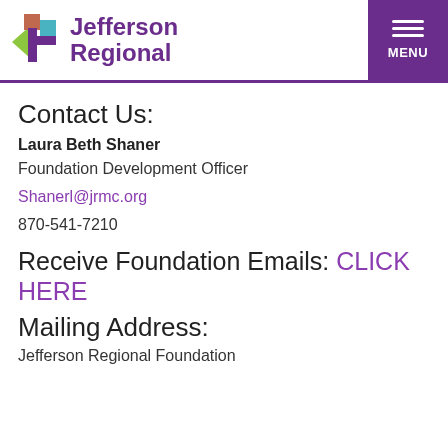[Figure (logo): Jefferson Regional logo with colorful cross icon and purple text]
Contact Us:
Laura Beth Shaner
Foundation Development Officer
Shanerl@jrmc.org
870-541-7210
Receive Foundation Emails: CLICK HERE
Mailing Address:
Jefferson Regional Foundation